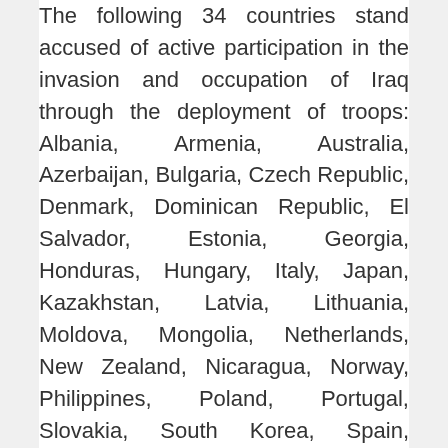The following 34 countries stand accused of active participation in the invasion and occupation of Iraq through the deployment of troops: Albania, Armenia, Australia, Azerbaijan, Bulgaria, Czech Republic, Denmark, Dominican Republic, El Salvador, Estonia, Georgia, Honduras, Hungary, Italy, Japan, Kazakhstan, Latvia, Lithuania, Moldova, Mongolia, Netherlands, New Zealand, Nicaragua, Norway, Philippines, Poland, Portugal, Slovakia, South Korea, Spain, Thailand, Tonga, United Kingdom, and Ukraine. 25 of these 34 countries continue to maintain security forces in the country. Some of these countries, such as Spain and the Philippines, have now withdrawn their troops or police forces, and others, such as the Netherlands, Ukraine, Bulgaria, and Italy, have began or announced the phased withdrawal of their contingents. All, however, should nevertheless be held accountable for having